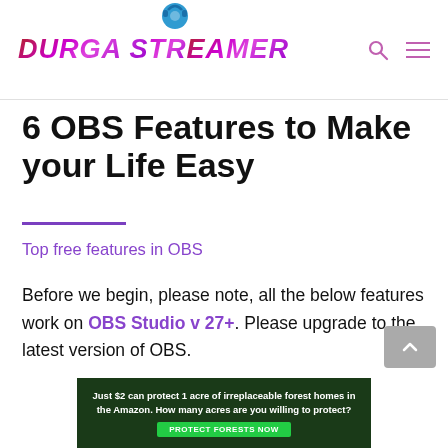DURGA STREAMER
6 OBS Features to Make your Life Easy
Top free features in OBS
Before we begin, please note, all the below features work on OBS Studio v 27+. Please upgrade to the latest version of OBS.
[Figure (other): Advertisement banner: forest background with text 'Just $2 can protect 1 acre of irreplaceable forest homes in the Amazon. How many acres are you willing to protect?' with a green 'PROTECT FORESTS NOW' button]